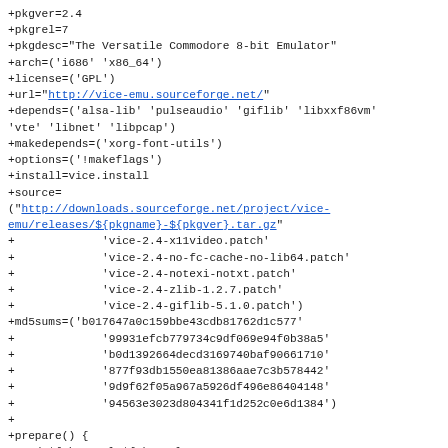+pkgver=2.4
+pkgrel=7
+pkgdesc="The Versatile Commodore 8-bit Emulator"
+arch=('i686' 'x86_64')
+license=('GPL')
+url="http://vice-emu.sourceforge.net/"
+depends=('alsa-lib' 'pulseaudio' 'giflib' 'libxxf86vm' 'vte' 'libnet' 'libpcap')
+makedepends=('xorg-font-utils')
+options=('!makeflags')
+install=vice.install
+source=
("http://downloads.sourceforge.net/project/vice-emu/releases/${pkgname}-${pkgver}.tar.gz"
+             'vice-2.4-x11video.patch'
+             'vice-2.4-no-fc-cache-no-lib64.patch'
+             'vice-2.4-notexi-notxt.patch'
+             'vice-2.4-zlib-1.2.7.patch'
+             'vice-2.4-giflib-5.1.0.patch')
+md5sums=('b017647a0c159bbe43cdb81762d1c577'
+             '99931efcb779734c9df069e94f0b38a5'
+             'b0d1392664decd3169740baf90661710'
+             '877f93db1550ea81386aae7c3b578442'
+             '9d9f62f05a967a5926df496e86404148'
+             '94563e3023d804341f1d252c0e6d1384')
+
+prepare() {
+  cd ${pkgname}-${pkgver}
+
+  patch -Np1 -i "${srcdir}/vice-2.4-x11video.patch"